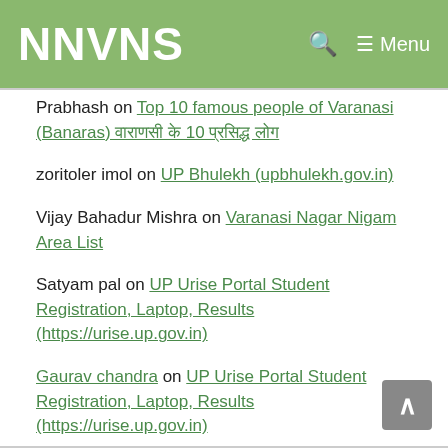NNVNS
Prabhash on Top 10 famous people of Varanasi (Banaras) वाराणसी के 10 प्रसिद्ध लोग
zoritoler imol on UP Bhulekh (upbhulekh.gov.in)
Vijay Bahadur Mishra on Varanasi Nagar Nigam Area List
Satyam pal on UP Urise Portal Student Registration, Laptop, Results (https://urise.up.gov.in)
Gaurav chandra on UP Urise Portal Student Registration, Laptop, Results (https://urise.up.gov.in)